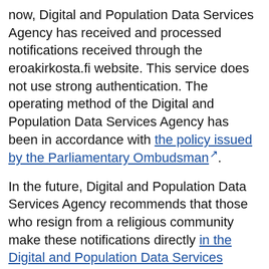now, Digital and Population Data Services Agency has received and processed notifications received through the eroakirkosta.fi website. This service does not use strong authentication. The operating method of the Digital and Population Data Services Agency has been in accordance with the policy issued by the Parliamentary Ombudsman.
In the future, Digital and Population Data Services Agency recommends that those who resign from a religious community make these notifications directly in the Digital and Population Data Services Agency's online service using strong authentication.
Digital and Population Data Services Agency has also contacted the persons in charge of the